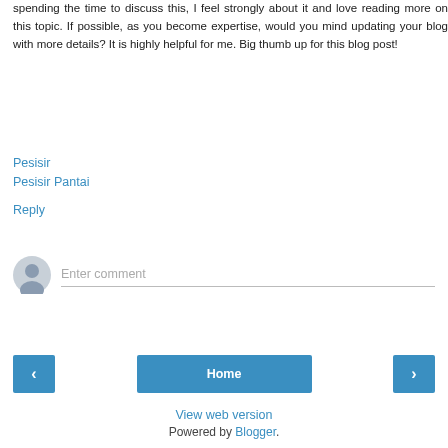spending the time to discuss this, I feel strongly about it and love reading more on this topic. If possible, as you become expertise, would you mind updating your blog with more details? It is highly helpful for me. Big thumb up for this blog post!
Pesisir
Pesisir Pantai
Reply
[Figure (other): Comment input area with user avatar icon and 'Enter comment' placeholder text field]
< | Home | >
View web version
Powered by Blogger.